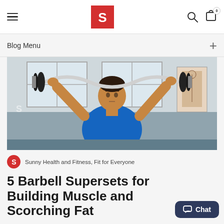Blog Menu
[Figure (photo): A muscular man in a blue t-shirt lifting a curved barbell overhead in a gym setting]
Sunny Health and Fitness, Fit for Everyone
5 Barbell Supersets for Building Muscle and Scorching Fat